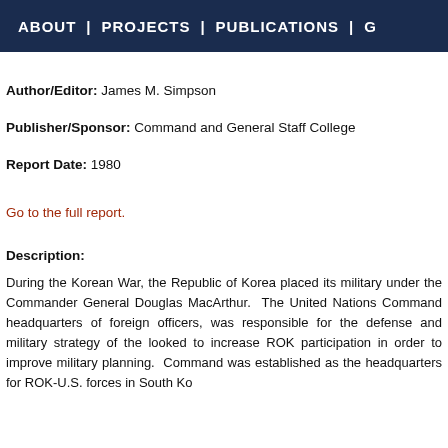ABOUT | PROJECTS | PUBLICATIONS | G
Author/Editor: James M. Simpson
Publisher/Sponsor: Command and General Staff College
Report Date: 1980
Go to the full report.
Description:
During the Korean War, the Republic of Korea placed its military under the Commander General Douglas MacArthur.  The United Nations Command headquarters of foreign officers, was responsible for the defense and military strategy of the looked to increase ROK participation in order to improve military planning. Command was established as the headquarters for ROK-U.S. forces in South Ko